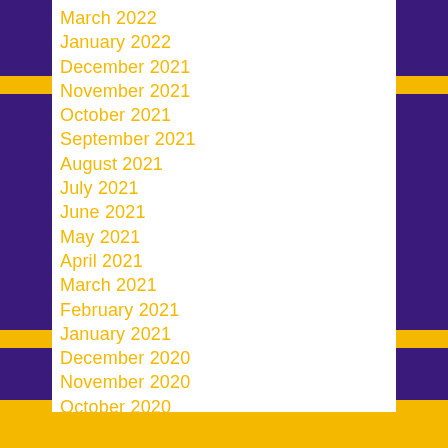March 2022
January 2022
December 2021
November 2021
October 2021
September 2021
August 2021
July 2021
June 2021
May 2021
April 2021
March 2021
February 2021
January 2021
December 2020
November 2020
October 2020
September 2020
August 2020
July 2020
June 2020